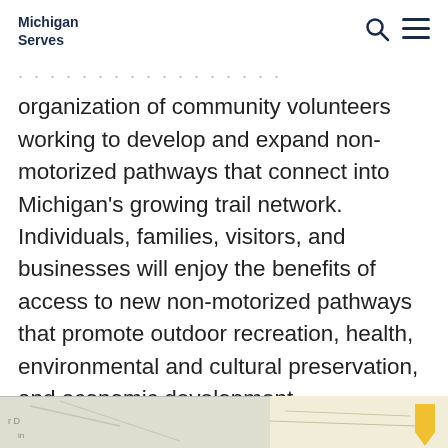Michigan Serves
organization of community volunteers working to develop and expand non-motorized pathways that connect into Michigan's growing trail network. Individuals, families, visitors, and businesses will enjoy the benefits of access to new non-motorized pathways that promote outdoor recreation, health, environmental and cultural preservation, and economic development.
Tell us
Share a comment, tip, update or concern
Share:
Bookmark
[Figure (map): Partial map visible at bottom of page]